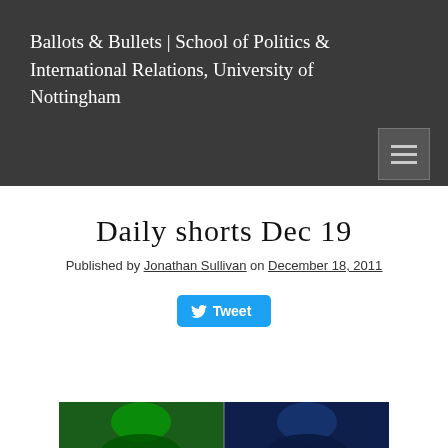Ballots & Bullets | School of Politics & International Relations, University of Nottingham
Daily shorts Dec 19
Published by Jonathan Sullivan on December 18, 2011
[Figure (screenshot): Tweet button with Twitter bird icon]
[Figure (photo): Two faces lit in green and blue lighting, side by side]